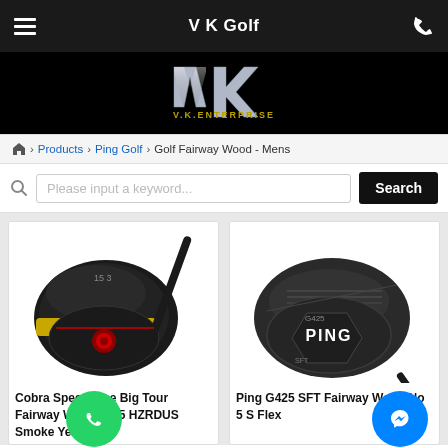V K Golf
[Figure (logo): VK Enterprise logo with metallic V K letters and gold text V.K.ENTERPRISE on black background]
Home > Products > Ping Golf > Golf Fairway Wood - Mens
Please input a keyword... Search
[Figure (photo): Cobra Speedzone Big Tour fairway wood club head, black with yellow cobra branding and red accents, No 5 wood]
Cobra Speedzone Big Tour Fairway Wood No 5 HZRDUS Smoke Yellow 60
[Figure (photo): Ping G425 SFT fairway wood club head, dark grey/black with PING branding, No 5 S Flex]
Ping G425 SFT Fairway Wood No 5 S Flex